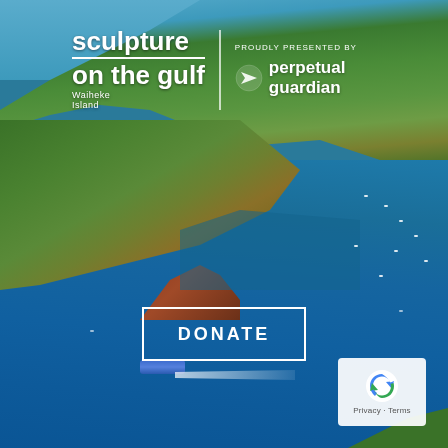[Figure (photo): Aerial photograph of Waiheke Island gulf waters with turquoise sea, green hills, rocky outcrops, small boats and a blue ferry with white wake]
sculpture on the gulf — Waiheke Island
PROUDLY PRESENTED BY perpetual guardian
DONATE
[Figure (other): Hamburger menu icon button in teal]
[Figure (other): reCAPTCHA widget showing Privacy - Terms links]